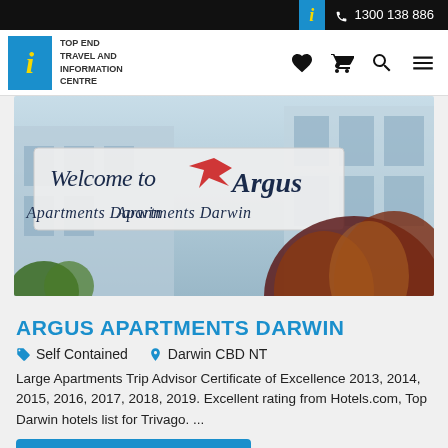i  1300 138 886
[Figure (logo): Top End Travel and Information Centre logo with blue i box and yellow italic i]
[Figure (photo): Photo of Argus Apartments Darwin entrance sign reading Welcome to Argus Apartments Darwin with tropical plants]
ARGUS APARTMENTS DARWIN
Self Contained   Darwin CBD NT
Large Apartments Trip Advisor Certificate of Excellence 2013, 2014, 2015, 2016, 2017, 2018, 2019. Excellent rating from Hotels.com, Top Darwin hotels list for Trivago. ...
ADD TO ITINERARY